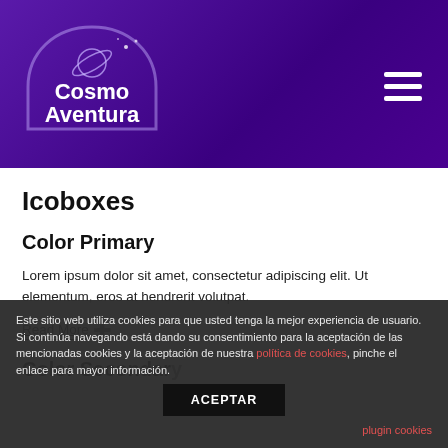[Figure (logo): CosmoAventura logo with rocket/planet icon, white text on purple background]
Icoboxes
Color Primary
Lorem ipsum dolor sit amet, consectetur adipiscing elit. Ut elementum, eros at hendrerit volutpat.
Read More ➔
Color Secondary
Este sitio web utiliza cookies para que usted tenga la mejor experiencia de usuario. Si continúa navegando está dando su consentimiento para la aceptación de las mencionadas cookies y la aceptación de nuestra política de cookies, pinche el enlace para mayor información.
ACEPTAR
plugin cookies